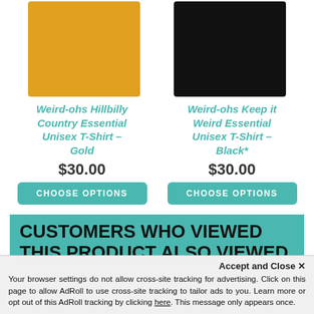[Figure (photo): Gold colored t-shirt product image (square fabric swatch, upper left)]
[Figure (photo): Black colored t-shirt product image (square fabric swatch, upper right)]
Weird-ohs Hillbilly Country Essential Unisex T-Shirt – Gold
Weird-ohs Keep it Weird Essential Unisex T-Shirt – Black*
$30.00
$30.00
CHOOSE OPTIONS
CHOOSE OPTIONS
CUSTOMERS WHO VIEWED THIS PRODUCT ALSO VIEWED
Accept and Close ✕
Your browser settings do not allow cross-site tracking for advertising. Click on this page to allow AdRoll to use cross-site tracking to tailor ads to you. Learn more or opt out of this AdRoll tracking by clicking here. This message only appears once.